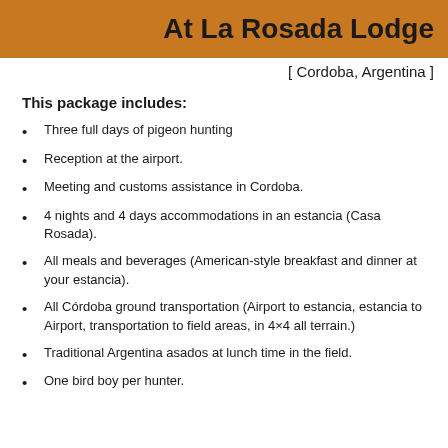At La Rosada Lodge
[ Cordoba, Argentina ]
This package includes:
Three full days of pigeon hunting
Reception at the airport.
Meeting and customs assistance in Cordoba.
4 nights and 4 days accommodations in an estancia (Casa Rosada).
All meals and beverages (American-style breakfast and dinner at your estancia).
All Córdoba ground transportation (Airport to estancia, estancia to Airport, transportation to field areas, in 4×4 all terrain.)
Traditional Argentina asados at lunch time in the field.
One bird boy per hunter.